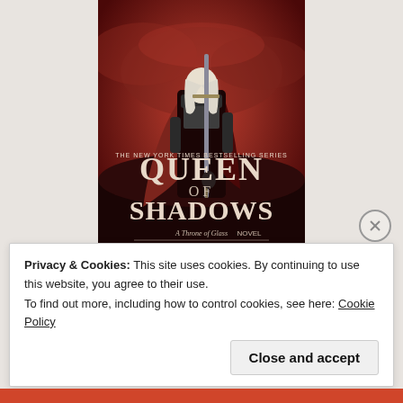[Figure (illustration): Book cover of 'Queen of Shadows: A Throne of Glass Novel' by Bloomsbury. Shows a woman in dark armor holding a large sword, with a red dramatic sky background. Text reads 'THE NEW YORK TIMES BESTSELLING SERIES' at the top, 'QUEEN OF SHADOWS' in large ornate lettering, 'A Throne of Glass NOVEL' in smaller text, and 'BLOOMSBURY' at the bottom.]
Privacy & Cookies: This site uses cookies. By continuing to use this website, you agree to their use.
To find out more, including how to control cookies, see here: Cookie Policy
Close and accept